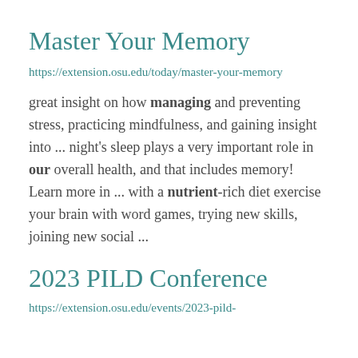Master Your Memory
https://extension.osu.edu/today/master-your-memory
great insight on how managing and preventing stress, practicing mindfulness, and gaining insight into ... night's sleep plays a very important role in our overall health, and that includes memory! Learn more in ... with a nutrient-rich diet exercise your brain with word games, trying new skills, joining new social ...
2023 PILD Conference
https://extension.osu.edu/events/2023-pild-